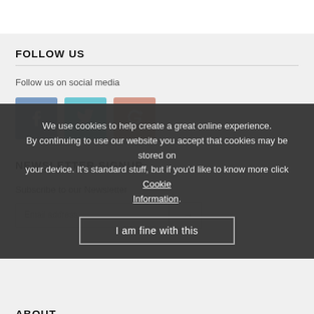FOLLOW US
Follow us on social media
[Figure (infographic): Three social media icon buttons: Facebook (blue), Twitter (teal), Google+ (pink/salmon)]
NEWSLETTER SIGNUP
Subscribe to our Newsletter
Email address
ABOUT
We use cookies to help create a great online experience. By continuing to use our website you accept that cookies may be stored on your device. It's standard stuff, but if you'd like to know more click Cookie Information.
I am fine with this